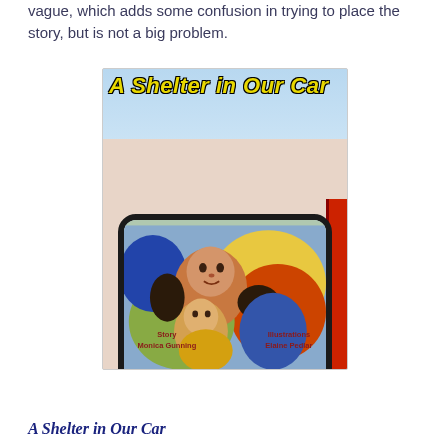vague, which adds some confusion in trying to place the story, but is not a big problem.
[Figure (illustration): Book cover of 'A Shelter in Our Car' showing two figures (a mother and child) visible through a car window, illustrated in an expressionist style with bold colors. Bottom credits read 'Story Monica Gunning' and 'Illustrations Elaine Pedlar'.]
A Shelter in Our Car